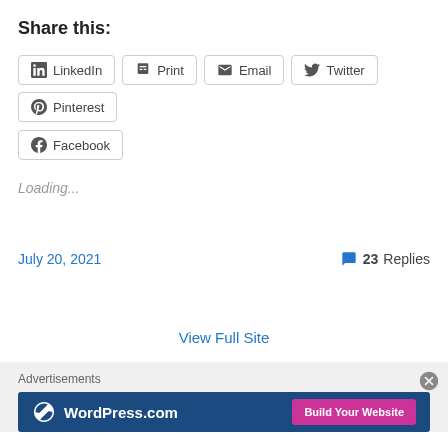Share this:
LinkedIn  Print  Email  Twitter  Pinterest  Facebook
Loading...
July 20, 2021
23 Replies
View Full Site
Advertisements
[Figure (screenshot): WordPress.com banner advertisement with 'Build Your Website' button]